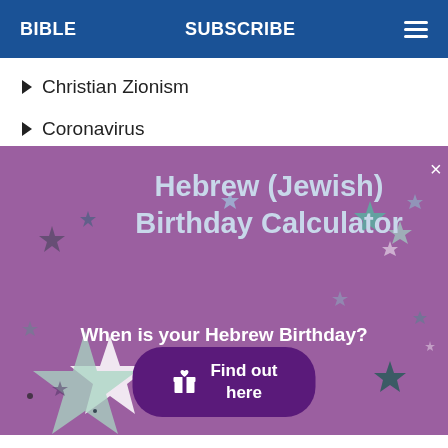BIBLE   SUBSCRIBE   ☰
Christian Zionism
Coronavirus
[Figure (illustration): Purple promotional banner for Hebrew (Jewish) Birthday Calculator with decorative stars, subtitle 'When is your Hebrew Birthday?' and a 'Find out here' button with gift icon.]